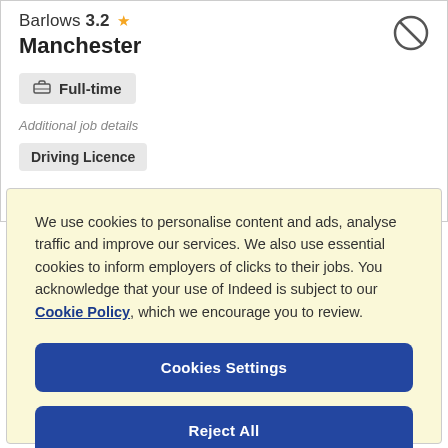Barlows 3.2 ★
Manchester
Full-time
Additional job details
Driving Licence
We use cookies to personalise content and ads, analyse traffic and improve our services. We also use essential cookies to inform employers of clicks to their jobs. You acknowledge that your use of Indeed is subject to our Cookie Policy, which we encourage you to review.
Cookies Settings
Reject All
Accept All Cookies